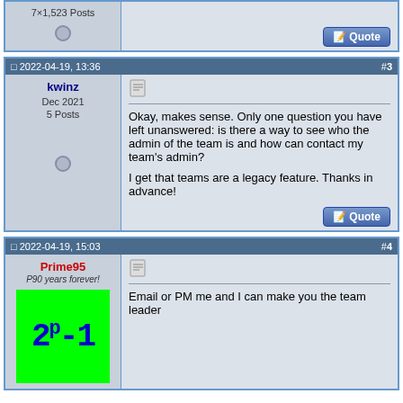7×1,523 Posts
#2 (partial post ending)
2022-04-19, 13:36 #3
kwinz
Dec 2021
5 Posts
Okay, makes sense. Only one question you have left unanswered: is there a way to see who the admin of the team is and how can contact my team's admin?

I get that teams are a legacy feature. Thanks in advance!
2022-04-19, 15:03 #4
Prime95
P90 years forever!
Email or PM me and I can make you the team leader